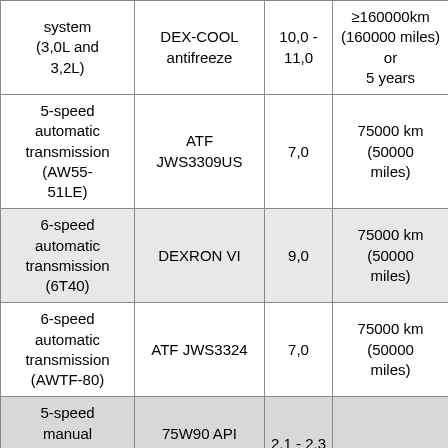| System | Fluid | Capacity (L) | Change Interval |
| --- | --- | --- | --- |
| Cooling system (3,0L and 3,2L) | DEX-COOL antifreeze | 10,0 - 11,0 | ≥160000 km (160000 miles) or 5 years |
| 5-speed automatic transmission (AW55-51LE) | ATF JWS3309US | 7,0 | 75000 km (50000 miles) |
| 6-speed automatic transmission (6T40) | DEXRON VI | 9,0 | 75000 km (50000 miles) |
| 6-speed automatic transmission (AWTF-80) | ATF JWS3324 | 7,0 | 75000 km (50000 miles) |
| 5-speed manual transmission (D33) | 75W90 API GL-4 | 2,1 - 2,3 |  |
| 6-speed... | Up to 2012MY |  |  |